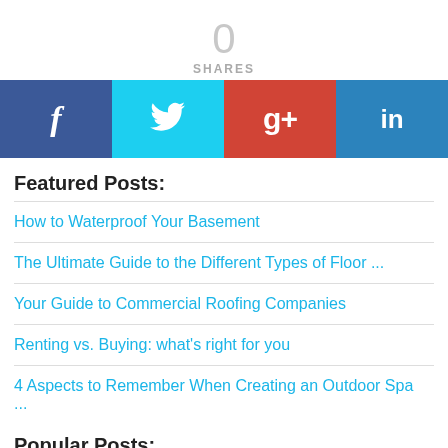0 SHARES
[Figure (other): Four social share buttons: Facebook (dark blue, f icon), Twitter (light blue, bird icon), Google+ (red, g+ icon), LinkedIn (blue, in icon)]
Featured Posts:
How to Waterproof Your Basement
The Ultimate Guide to the Different Types of Floor ...
Your Guide to Commercial Roofing Companies
Renting vs. Buying: what's right for you
4 Aspects to Remember When Creating an Outdoor Spa ...
Popular Posts:
Are Condo Hotels a Smart Investment?  81881